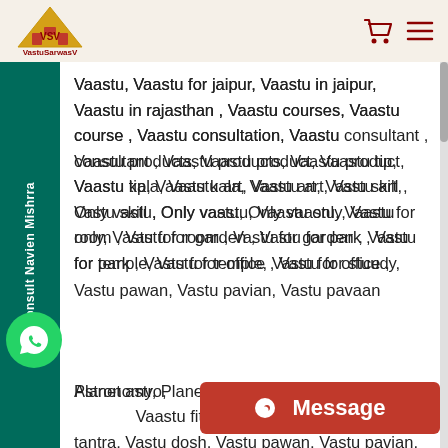VastuSarwasV logo with cart and menu icons
Vaastu, Vaastu for jaipur, Vaastu in jaipur, Vaastu in rajasthan , Vaastu courses, Vaastu course , Vaastu consultation, Vaastu consultant , Vaastu products, Vaastu product, Vaastu tip, Vaastu kala, Vaastu art, Vastu art, Vastu skill , Only vastu, Only vaastu, Vaastu only, Vastu for room , Vastu for garden , Vastu for park , Vastu for temple, Vastu for office , Vastu for stuudy, Vastu for rera, Vastu for pool, Vastu for hotel, Vastu for restaurant , Vastu for street vendor, Vastu for astrologer , Astrology vastu, Astrologer vastu, Astrologist, Astronomy, Planet, Planets , Planet astro, Planet vastu, Planet vaastu, Planet fitness , Vaastu fitness, Vastu freak, Vastu tantra, Vastu dosh, Vastu pawan, Vastu pavian, Vastu pavaan